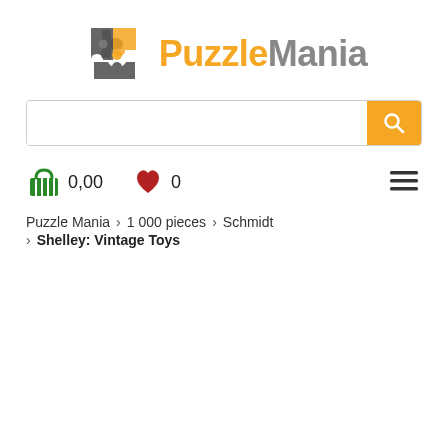[Figure (logo): PuzzleMania logo: grey jigsaw puzzle pieces icon on the left, text 'Puzzle' in orange and 'Mania' in grey on the right]
[Figure (screenshot): Search bar with orange search button (magnifying glass icon)]
0,00
0
[Figure (other): Hamburger menu icon (three horizontal lines)]
Puzzle Mania > 1 000 pieces > Schmidt
> Shelley: Vintage Toys